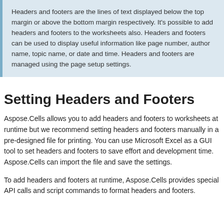Headers and footers are the lines of text displayed below the top margin or above the bottom margin respectively. It's possible to add headers and footers to the worksheets also. Headers and footers can be used to display useful information like page number, author name, topic name, or date and time. Headers and footers are managed using the page setup settings.
Setting Headers and Footers
Aspose.Cells allows you to add headers and footers to worksheets at runtime but we recommend setting headers and footers manually in a pre-designed file for printing. You can use Microsoft Excel as a GUI tool to set headers and footers to save effort and development time. Aspose.Cells can import the file and save the settings.
To add headers and footers at runtime, Aspose.Cells provides special API calls and script commands to format headers and footers.